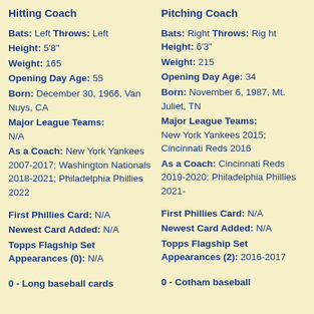Hitting Coach
Bats: Left  Throws: Left  Height: 5'8"  Weight: 165  Opening Day Age: 55  Born: December 30, 1966, Van Nuys, CA  Major League Teams: N/A  As a Coach: New York Yankees 2007-2017; Washington Nationals 2018-2021; Philadelphia Phillies 2022  First Phillies Card: N/A  Newest Card Added: N/A  Topps Flagship Set Appearances (0): N/A
Pitching Coach
Bats: Right  Throws: Right  Height: 6'3"  Weight: 215  Opening Day Age: 34  Born: November 6, 1987, Mt. Juliet, TN  Major League Teams: New York Yankees 2015; Cincinnati Reds 2016  As a Coach: Cincinnati Reds 2019-2020; Philadelphia Phillies 2021-  First Phillies Card: N/A  Newest Card Added: N/A  Topps Flagship Set Appearances (2): 2016-2017
0 - Long baseball cards
0 - Cotham baseball